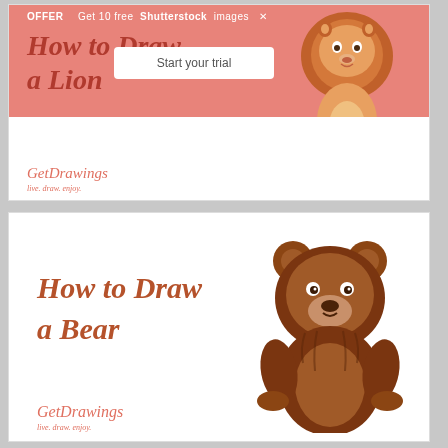[Figure (illustration): Card 1: 'How to Draw a Lion' banner with salmon/coral background, cartoon lion illustration on right, Shutterstock offer bar at top, 'Start your trial' box, GetDrawings logo at bottom left]
[Figure (illustration): Card 2: 'How to Draw a Bear' white card with cursive title text in brown/terracotta, cartoon brown bear illustration on right, GetDrawings logo at bottom left]